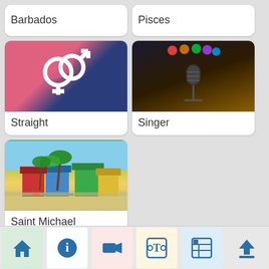Barbados
Pisces
[Figure (illustration): Gender symbols (male and female) overlapping in white on a pink and dark blue diagonal background]
Straight
[Figure (photo): Microphone on a stand lit by colorful stage lights in a dark venue]
Singer
[Figure (photo): Colorful beach huts and palm trees in a tropical beach setting]
Saint Michael
Home | Info | Video | Text | News | Upload — navigation icons